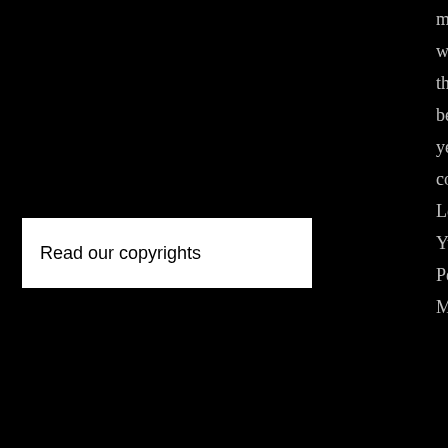may I wish you the very best for years to come Leong Yue Peng, Malaysia.”
Read our copyrights
Review from: Mr. Leong Yue Peng, Malaysia Project: Visiting